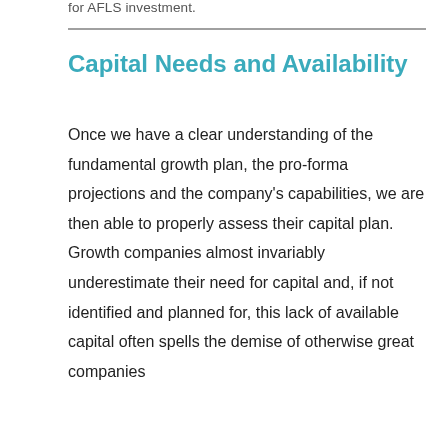for AFLS investment.
Capital Needs and Availability
Once we have a clear understanding of the fundamental growth plan, the pro-forma projections and the company's capabilities, we are then able to properly assess their capital plan. Growth companies almost invariably underestimate their need for capital and, if not identified and planned for, this lack of available capital often spells the demise of otherwise great companies with strong, repeatable business